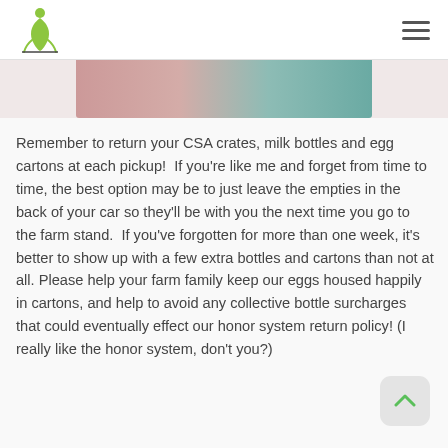[Logo and hamburger menu]
[Figure (photo): Partial image strip at top of content area showing colorful produce or farm items]
Remember to return your CSA crates, milk bottles and egg cartons at each pickup!  If you’re like me and forget from time to time, the best option may be to just leave the empties in the back of your car so they’ll be with you the next time you go to the farm stand.  If you’ve forgotten for more than one week, it’s better to show up with a few extra bottles and cartons than not at all. Please help your farm family keep our eggs housed happily in cartons, and help to avoid any collective bottle surcharges that could eventually effect our honor system return policy! (I really like the honor system, don’t you?)